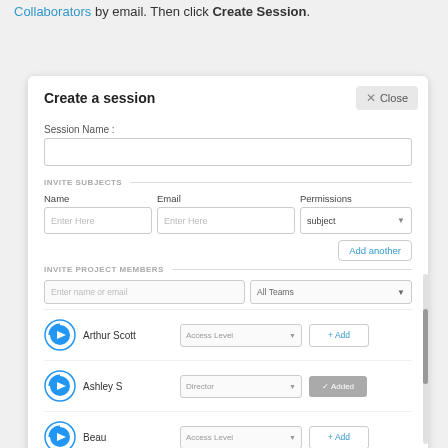Collaborators by email. Then click Create Session.
[Figure (screenshot): A modal dialog titled 'Create a session' with a Close button, Session Name input field, Invite Subjects section with Name/Email/Permissions fields and Enter Here placeholders plus subject dropdown and Add another button, Invite Project Members section with search fields and a list of members: Arthur Scott (Access Level dropdown, + Add button), Ashley S (Director dropdown, Added button), Beau (Access Level dropdown, + Add button)]